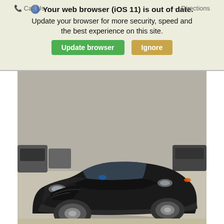[Figure (screenshot): Browser warning overlay: globe icon, bold text 'Your web browser (iOS 11) is out of date. Update your browser for more security, speed and the best experience on this site.' with green 'Update browser' and tan 'Ignore' buttons. Navigation bar with 'Call Us' and 'Directions' labels faintly visible behind.]
[Figure (photo): Photo of a dark gray/black 2017 Ford Fusion Sport sedan, front 3/4 view, parked in a dealership lot on a sunny day.]
Used 2017 Ford Fusion
SPORT Sedan 4dr Car 6-Speed Automatic w/OD	96,665 km
| Sale Price |  |
| --- | --- |
| $26,450 |  |
*First Name	*Last Name